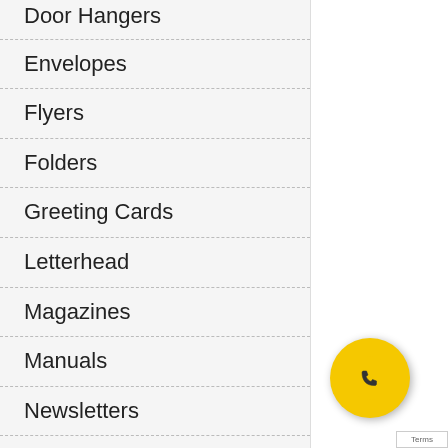Door Hangers
Envelopes
Flyers
Folders
Greeting Cards
Letterhead
Magazines
Manuals
Newsletters
Notepads
Placemats
Postcards
Posters
Rack Cards
Restaurant Menus
Stationery Sets